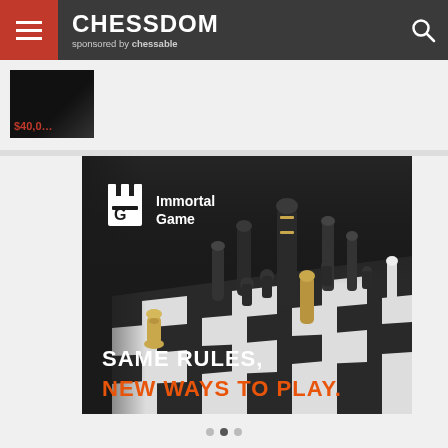CHESSDOM sponsored by chessable
[Figure (photo): Partially visible thumbnail image with red price tag showing $40,0...]
[Figure (illustration): Advertisement for Immortal Game app showing luxury chess pieces on a chessboard with text 'SAME RULES, NEW WAYS TO PLAY.']